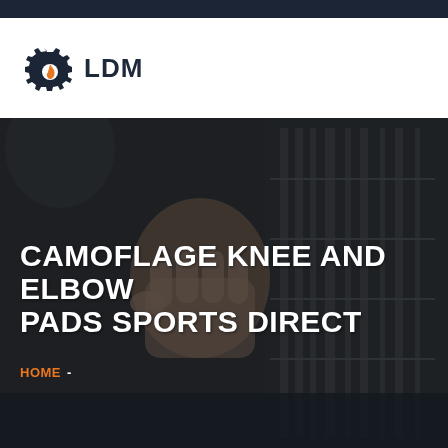[Figure (logo): LDM logo with gear and flame icon in dark navy and orange]
CAMOFLAGE KNEE AND ELBOW PADS SPORTS DIRECT
HOME -
[Figure (photo): Dark background photo showing a hand/fist near industrial equipment panels]